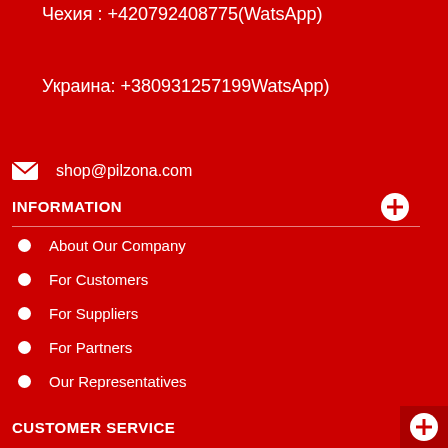Чехия : +420792408775(WatsApp)
Украина: +380931257199WatsApp)
shop@pilzona.com
INFORMATION
About Our Company
For Customers
For Suppliers
For Partners
Our Representatives
Medicaments
Site Map
PILZONA RESOURCES
CUSTOMER SERVICE